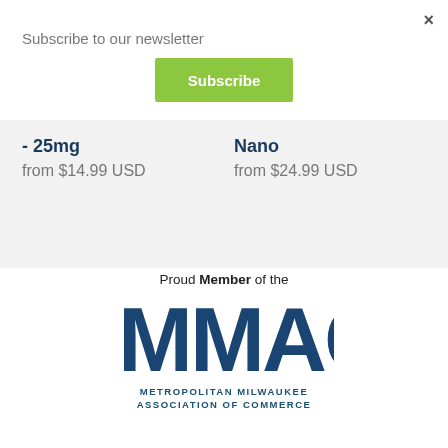×
Subscribe to our newsletter
Subscribe
- 25mg
from $14.99 USD
Nano
from $24.99 USD
[Figure (logo): MMAC Metropolitan Milwaukee Association of Commerce logo with text 'Proud Member of the' above large MMAC letters in dark blue]